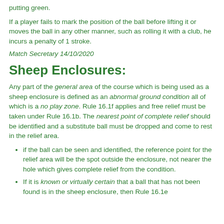putting green.
If a player fails to mark the position of the ball before lifting it or moves the ball in any other manner, such as rolling it with a club, he incurs a penalty of 1 stroke.
Match Secretary 14/10/2020
Sheep Enclosures:
Any part of the general area of the course which is being used as a sheep enclosure is defined as an abnormal ground condition all of which is a no play zone. Rule 16.1f applies and free relief must be taken under Rule 16.1b. The nearest point of complete relief should be identified and a substitute ball must be dropped and come to rest in the relief area.
if the ball can be seen and identified, the reference point for the relief area will be the spot outside the enclosure, not nearer the hole which gives complete relief from the condition.
If it is known or virtually certain that a ball that has not been found is in the sheep enclosure, then Rule 16.1e